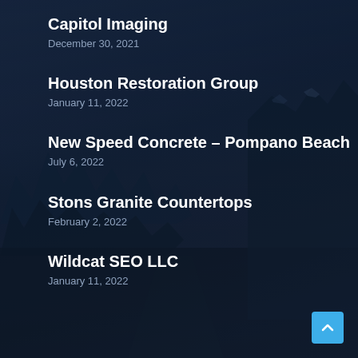Capitol Imaging
December 30, 2021
Houston Restoration Group
January 11, 2022
New Speed Concrete – Pompano Beach
July 6, 2022
Stons Granite Countertops
February 2, 2022
Wildcat SEO LLC
January 11, 2022